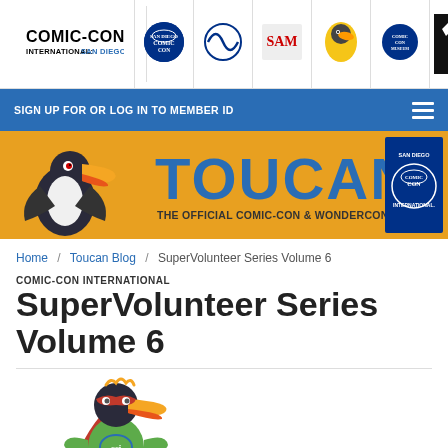[Figure (screenshot): Comic-Con International navigation bar with logo and icon links for Comic-Con International, WonderCon, SAM, Toucan mascot, Comic-Con Museum, and merchandise]
SIGN UP FOR OR LOG IN TO MEMBER ID
[Figure (illustration): Toucan Blog banner — orange background with toucan bird mascot, large text TOUCAN, subtitle THE OFFICIAL COMIC-CON & WONDERCON BLOG!, San Diego Comic-Con International logo]
Home / Toucan Blog / SuperVolunteer Series Volume 6
COMIC-CON INTERNATIONAL
SuperVolunteer Series Volume 6
[Figure (illustration): Cartoon toucan character dressed as a superhero with cape, CCI logo on chest, green body, orange beak and head feathers]